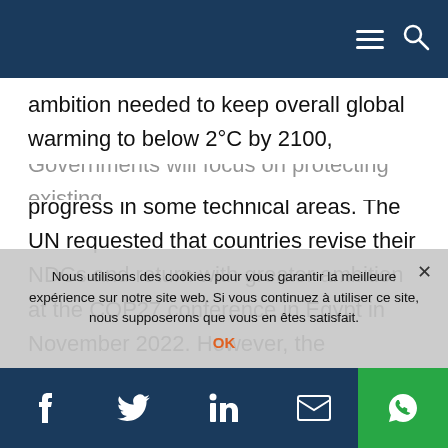Navigation bar with hamburger menu and search icon
ambition needed to keep overall global warming to below 2°C by 2100, although they achieved modest progress in some technical areas. The UN requested that countries revise their NDCs and return with greater ambition at the COP27 conference in Egypt in November 2022. However, the impediments to progress at COP26—insufficient agreement on funding for developing economies, and policymakers' concerns around costs to government and household living standards—are unlikely to have abated significantly by COP27. We expect any increase in the ambition of NDCs to be minor.
Governments will focus on protecting existing
Nous utilisons des cookies pour vous garantir la meilleure expérience sur notre site web. Si vous continuez à utiliser ce site, nous supposerons que vous en êtes satisfait.
Social share bar: Facebook, Twitter, LinkedIn, Email, WhatsApp